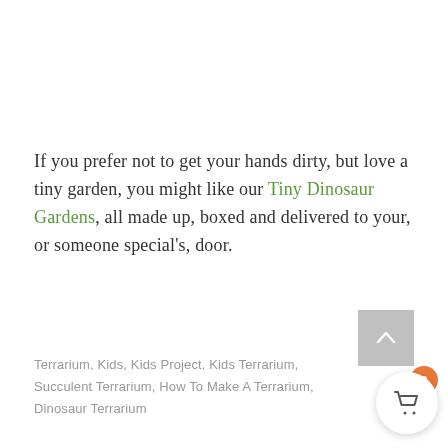If you prefer not to get your hands dirty, but love a tiny garden, you might like our Tiny Dinosaur Gardens, all made up, boxed and delivered to your, or someone special's, door.
[Figure (other): Gray scroll-to-top button with upward-pointing chevron arrow]
Terrarium, Kids, Kids Project, Kids Terrarium, Succulent Terrarium, How To Make A Terrarium, Dinosaur Terrarium
[Figure (other): Shopping cart icon in a white circular button with an orange badge showing 0]